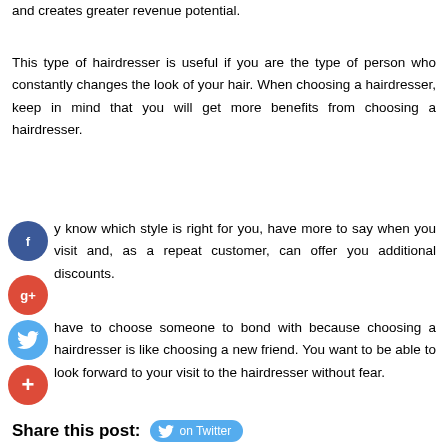and creates greater revenue potential.
This type of hairdresser is useful if you are the type of person who constantly changes the look of your hair. When choosing a hairdresser, keep in mind that you will get more benefits from choosing a hairdresser.
y know which style is right for you, have more to say when you visit and, as a repeat customer, can offer you additional discounts.
have to choose someone to bond with because choosing a hairdresser is like choosing a new friend. You want to be able to look forward to your visit to the hairdresser without fear.
Share this post: on Twitter